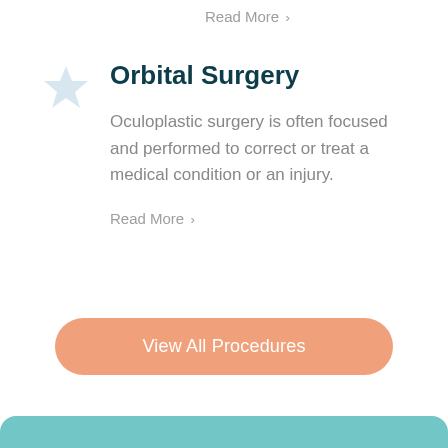Read More >
Orbital Surgery
Oculoplastic surgery is often focused and performed to correct or treat a medical condition or an injury.
Read More >
View All Procedures